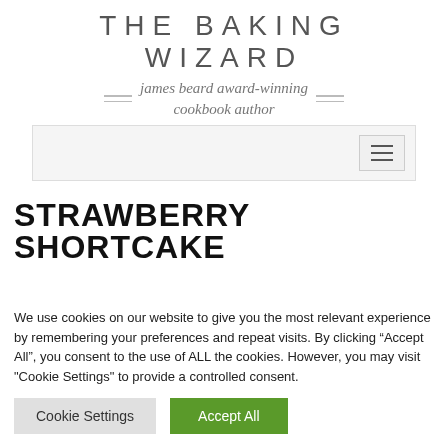THE BAKING WIZARD
james beard award-winning cookbook author
[Figure (screenshot): Navigation bar with hamburger menu icon on the right]
STRAWBERRY SHORTCAKE
We use cookies on our website to give you the most relevant experience by remembering your preferences and repeat visits. By clicking “Accept All”, you consent to the use of ALL the cookies. However, you may visit "Cookie Settings" to provide a controlled consent.